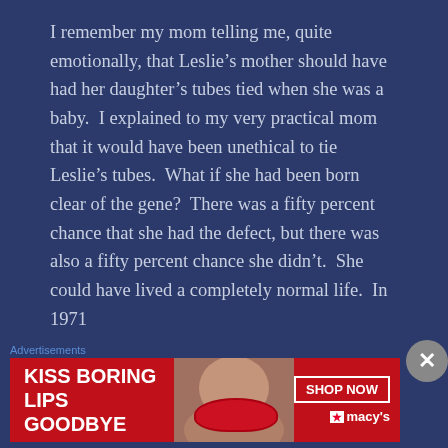I remember my mom telling me, quite emotionally, that Leslie's mother should have had her daughter's tubes tied when she was a baby.  I explained to my very practical mom that it would have been unethical to tie Leslie's tubes.  What if she had been born clear of the gene?  There was a fifty percent chance that she had the defect, but there was also a fifty percent chance she didn't.  She could have lived a completely normal life.  In 1971
Advertisements
[Figure (photo): Advertisement banner: red background with woman's face and lips. Text reads 'KISS BORING LIPS GOODBYE' with 'SHOP NOW' button and Macy's star logo.]